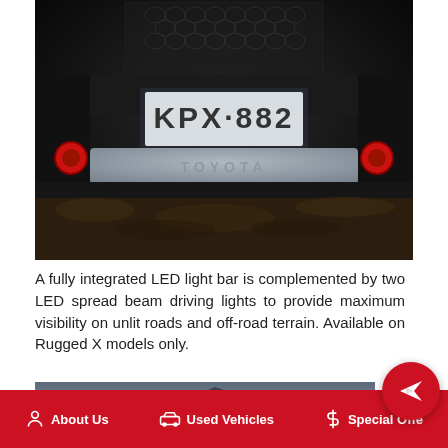[Figure (photo): Close-up front view of a Toyota vehicle showing the front bumper area with a license plate reading KPX 882, a TOYOTA logo skid plate, red tow hooks on each side, and a hexagonal grille in the background. Dark off-road terrain visible.]
A fully integrated LED light bar is complemented by two LED spread beam driving lights to provide maximum visibility on unlit roads and off-road terrain. Available on Rugged X models only.
[Figure (photo): Partial landscape photo showing a rocky mountain or cliff terrain in the background, partially cropped.]
About Us    Used Vehicles    Special Off...